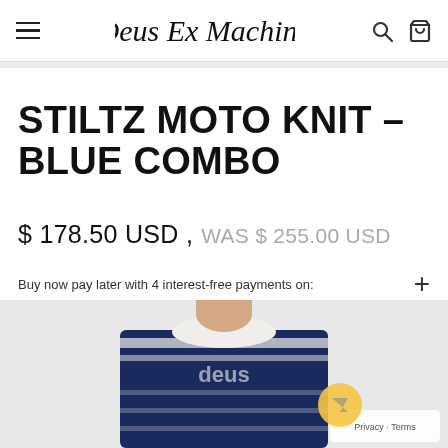Deus Ex Machina
STILTZ MOTO KNIT - BLUE COMBO
$ 178.50 USD , WAS $ 255.00 USD
Buy now pay later with 4 interest-free payments on:
[Figure (logo): Payment method logos: Klarna, Afterpay, PayPal]
[Figure (photo): Man wearing Stiltz Moto Knit sweater in blue combo colorway with stripe pattern]